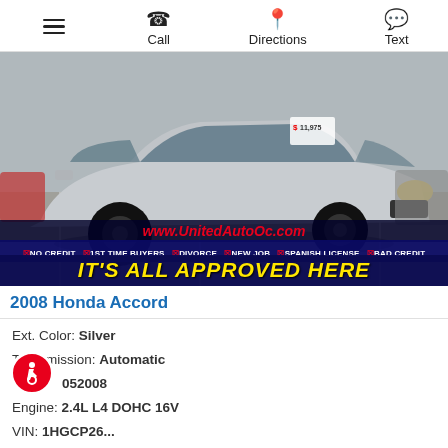Call | Directions | Text
[Figure (photo): Silver 2008 Honda Accord sedan with black custom wheels parked in a car dealership lot. Overlay banners: www.UnitedAutoOc.com, NO CREDIT 1ST TIME BUYERS DIVORCE NEW JOB SPANISH LICENSE BAD CREDIT, IT'S ALL APPROVED HERE]
2008 Honda Accord
Ext. Color: Silver
Transmission: Automatic
052008
Engine: 2.4L L4 DOHC 16V
VIN: 1HGCP26...